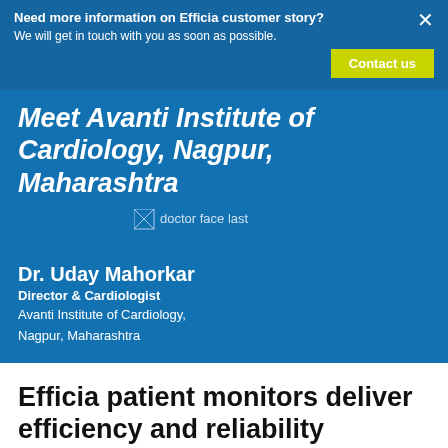Need more information on Efficia customer story?
We will get in touch with you as soon as possible.
Meet Avanti Institute of Cardiology, Nagpur, Maharashtra
[Figure (photo): Doctor face image placeholder (broken image with alt text 'doctor face last')]
Dr. Uday Mahorkar
Director & Cardiologist
Avanti Institute of Cardiology,
Nagpur, Maharashtra
Efficia patient monitors deliver efficiency and reliability